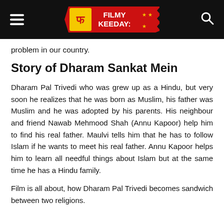Filmy Keeday (logo header bar)
problem in our country.
Story of Dharam Sankat Mein
Dharam Pal Trivedi who was grew up as a Hindu, but very soon he realizes that he was born as Muslim, his father was Muslim and he was adopted by his parents. His neighbour and friend Nawab Mehmood Shah (Annu Kapoor) help him to find his real father. Maulvi tells him that he has to follow Islam if he wants to meet his real father. Annu Kapoor helps him to learn all needful things about Islam but at the same time he has a Hindu family.
Film is all about, how Dharam Pal Trivedi becomes sandwich between two religions.